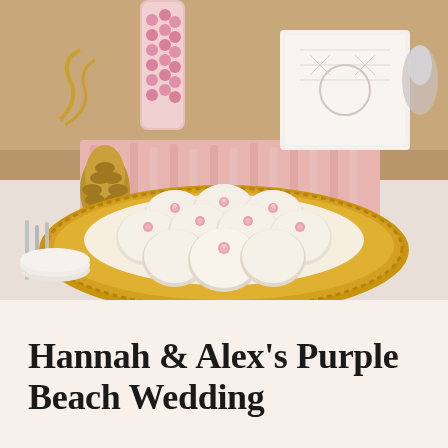[Figure (photo): A gold charger plate holding a stack of white round sugar cookies, each decorated with a small pink sugar rose, arranged on a white doily. Background shows a wedding dessert table with pink ruffled fabric, gold pine cone decorations, a white wedding cake, and a pink candy tower.]
Hannah & Alex's Purple Beach Wedding